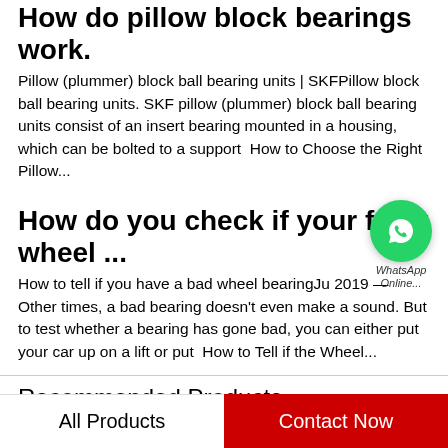How do pillow block bearings work.
Pillow (plummer) block ball bearing units | SKFPillow block ball bearing units. SKF pillow (plummer) block ball bearing units consist of an insert bearing mounted in a housing, which can be bolted to a support  How to Choose the Right Pillow...
How do you check if your front wheel ...
How to tell if you have a bad wheel bearingJu 2019 — Other times, a bad bearing doesn't even make a sound. But to test whether a bearing has gone bad, you can either put your car up on a lift or put  How to Tell if the Wheel...
Recommended Products
[Figure (photo): Product thumbnail images partially visible]
All Products
Contact Now